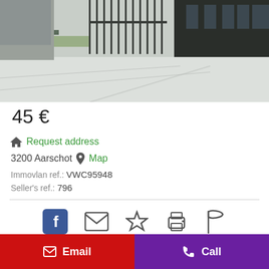[Figure (photo): Exterior photo of a modern building with dark facade and paved driveway area]
45 €
Request address
3200 Aarschot  Map
Immovlan ref.: VWC95948
Seller's ref.: 796
[Figure (infographic): Social sharing and action icons: Facebook, Email, Star/Favorite, Print, Flag]
Email  Call